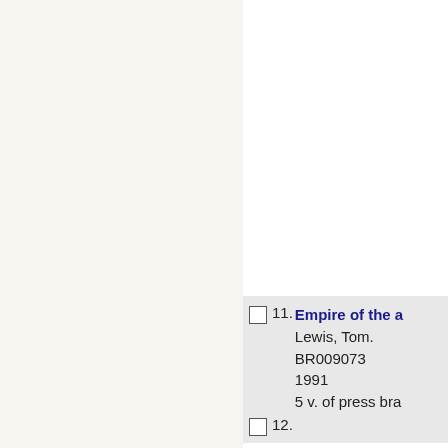11. Empire of the a... Lewis, Tom. BR009073 1991 5 v. of press bra... Braille
12. ...